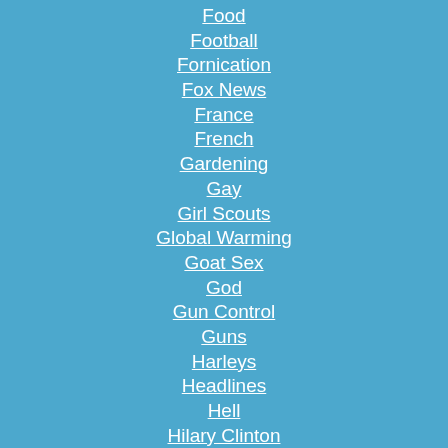Food
Football
Fornication
Fox News
France
French
Gardening
Gay
Girl Scouts
Global Warming
Goat Sex
God
Gun Control
Guns
Harleys
Headlines
Hell
Hilary Clinton
Holidays
Hollywood
Homeland Security
Humor